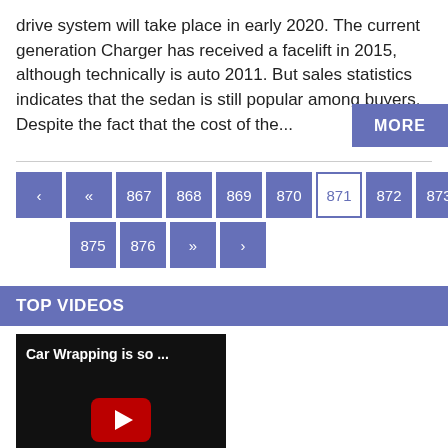drive system will take place in early 2020. The current generation Charger has received a facelift in 2015, although technically is auto 2011. But sales statistics indicates that the sedan is still popular among buyers. Despite the fact that the cost of the...
MORE
< « 867 868 869 870 871 872 873 874 875 876 » >
TOP VIDEOS
[Figure (screenshot): Video thumbnail with dark background, title 'Car Wrapping is so ...' and YouTube play button icon]